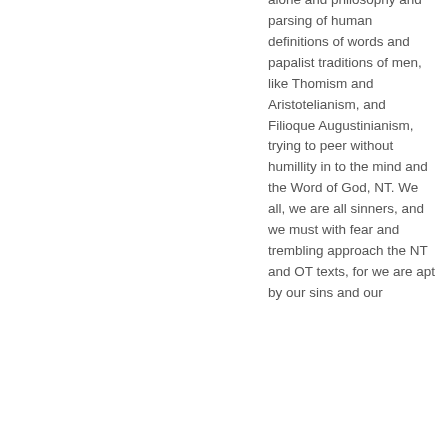alone and philosophy and parsing of human definitions of words and papalist traditions of men, like Thomism and Aristotelianism, and Filioque Augustinianism, trying to peer without humillity in to the mind and the Word of God, NT. We all, we are all sinners, and we must with fear and trembling approach the NT and OT texts, for we are apt by our sins and our